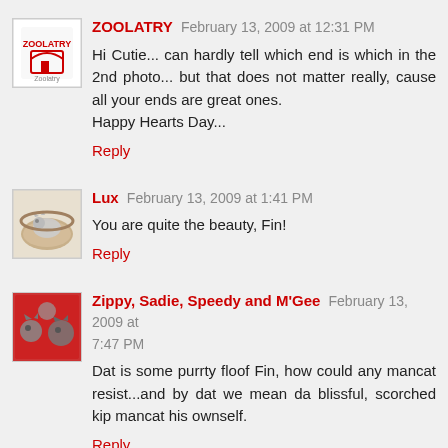[Figure (photo): Zoolatry avatar - small logo/icon with red text]
ZOOLATRY February 13, 2009 at 12:31 PM
Hi Cutie... can hardly tell which end is which in the 2nd photo... but that does not matter really, cause all your ends are great ones.
Happy Hearts Day...
Reply
[Figure (photo): Lux avatar - cat in a round bed]
Lux February 13, 2009 at 1:41 PM
You are quite the beauty, Fin!
Reply
[Figure (photo): Zippy, Sadie, Speedy and M'Gee avatar - cats photo]
Zippy, Sadie, Speedy and M'Gee February 13, 2009 at 7:47 PM
Dat is some purrty floof Fin, how could any mancat resist...and by dat we mean da blissful, scorched kip mancat his ownself.
Reply